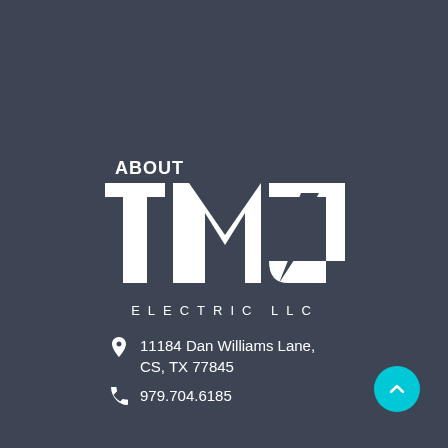ABOUT
[Figure (logo): TMJ Electric LLC logo — large white stylized letters TMJ with a lightning bolt integrated into the design, and 'ELECTRIC LLC' in spaced capital letters below]
11184 Dan Williams Lane, CS, TX 77845
979.704.6185